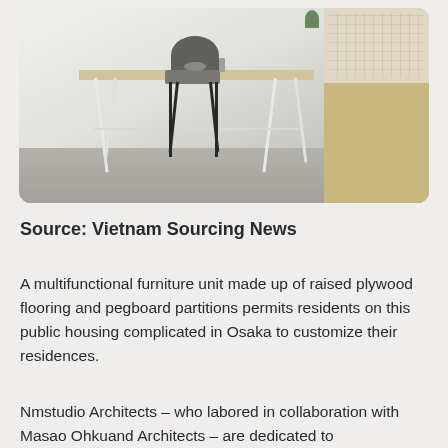[Figure (photo): Interior room photo showing a minimalist space with a light wood trestle desk, black chair, and wooden cabinetry with pegboard partitions on the right side. Light grey floor visible.]
Source: Vietnam Sourcing News
A multifunctional furniture unit made up of raised plywood flooring and pegboard partitions permits residents on this public housing complicated in Osaka to customize their residences.
Nmstudio Architects – who labored in collaboration with Masao Ohkuand Architects – are dedicated to